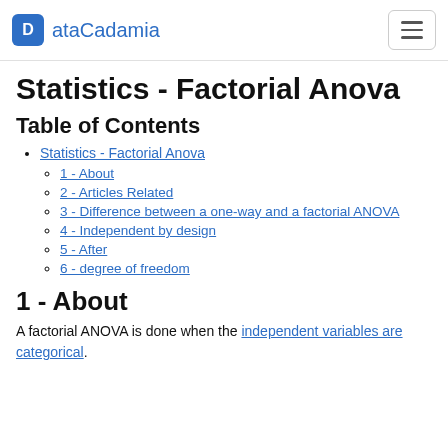ataCadamia
Statistics - Factorial Anova
Table of Contents
Statistics - Factorial Anova
1 - About
2 - Articles Related
3 - Difference between a one-way and a factorial ANOVA
4 - Independent by design
5 - After
6 - degree of freedom
1 - About
A factorial ANOVA is done when the independent variables are categorical.